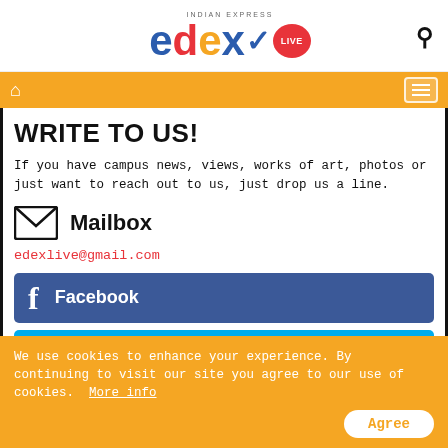[Figure (logo): edexLIVE logo from Indian Express with colorful letters e(blue), d(red), e(orange), x(blue) with checkmark, and LIVE badge in red circle]
Navigation bar with home icon and hamburger menu on orange background
WRITE TO US!
If you have campus news, views, works of art, photos or just want to reach out to us, just drop us a line.
Mailbox
edexlive@gmail.com
[Figure (infographic): Facebook button - blue rectangle with f icon and text Facebook]
[Figure (infographic): Twitter button - cyan rectangle with bird icon and text Twitter (partially visible)]
We use cookies to enhance your experience. By continuing to visit our site you agree to our use of cookies.  More info
Agree